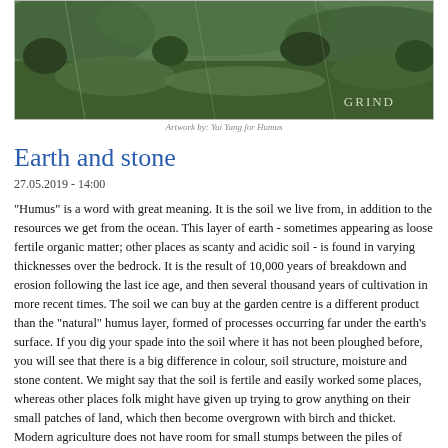[Figure (photo): Aerial landscape photo of green fields and hills with 'GRIND' text overlay in bottom right, with a small italic caption below]
Earth and stone
27.05.2019 - 14:00
"Humus" is a word with great meaning. It is the soil we live from, in addition to the resources we get from the ocean. This layer of earth - sometimes appearing as loose fertile organic matter; other places as scanty and acidic soil - is found in varying thicknesses over the bedrock. It is the result of 10,000 years of breakdown and erosion following the last ice age, and then several thousand years of cultivation in more recent times. The soil we can buy at the garden centre is a different product than the "natural" humus layer, formed of processes occurring far under the earth's surface. If you dig your spade into the soil where it has not been ploughed before, you will see that there is a big difference in colour, soil structure, moisture and stone content. We might say that the soil is fertile and easily worked some places, whereas other places folk might have given up trying to grow anything on their small patches of land, which then become overgrown with birch and thicket. Modern agriculture does not have room for small stumps between the piles of stone. Nowadays, machines do the job, and they require a lot of space and flat ground